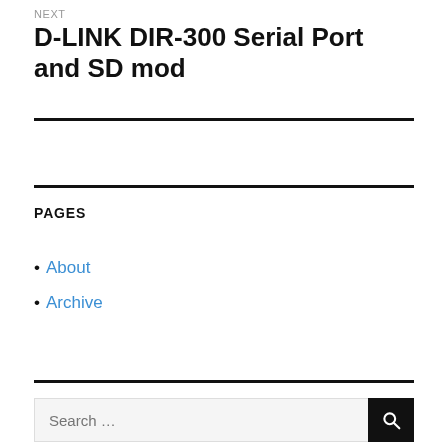NEXT
D-LINK DIR-300 Serial Port and SD mod
PAGES
About
Archive
Search ...